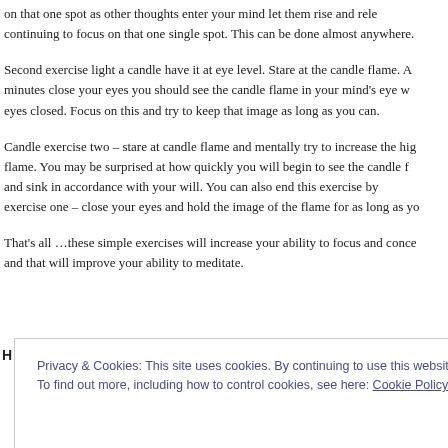on that one spot as other thoughts enter your mind let them rise and release, continuing to focus on that one single spot. This can be done almost anywhere.
Second exercise light a candle have it at eye level. Stare at the candle flame. After a few minutes close your eyes you should see the candle flame in your mind's eye with your eyes closed. Focus on this and try to keep that image as long as you can.
Candle exercise two – stare at candle flame and mentally try to increase the height of the flame. You may be surprised at how quickly you will begin to see the candle flame rise and sink in accordance with your will. You can also end this exercise by doing exercise one – close your eyes and hold the image of the flame for as long as you can.
That's all …these simple exercises will increase your ability to focus and concentrate and that will improve your ability to meditate.
Privacy & Cookies: This site uses cookies. By continuing to use this website, you agree to their use.
To find out more, including how to control cookies, see here: Cookie Policy
Close and accept
himitstilts.co